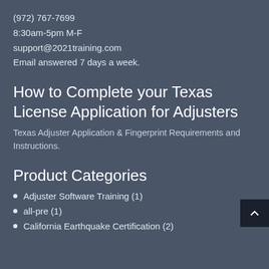(972) 767-7699
8:30am-5pm M-F
support@2021training.com
Email answered 7 days a week.
How to Complete your Texas License Application for Adjusters
Texas Adjuster Application & Fingerprint Requirements and Instructions.
Product Categories
Adjuster Software Training (1)
all-pre (1)
California Earthquake Certification (2)